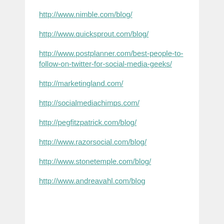http://www.nimble.com/blog/
http://www.quicksprout.com/blog/
http://www.postplanner.com/best-people-to-follow-on-twitter-for-social-media-geeks/
http://marketingland.com/
http://socialmediachimps.com/
http://pegfitzpatrick.com/blog/
http://www.razorsocial.com/blog/
http://www.stonetemple.com/blog/
http://www.andreavahl.com/blog